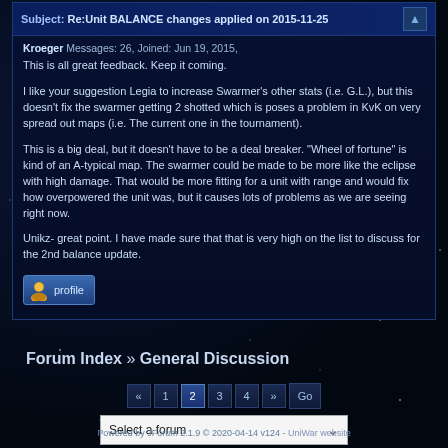Subject: Re:Unit BALANCE changes applied on 2015-11-25
Kroeger Messages: 26, Joined: Jun 19, 2015,
This is all great feedback. Keep it coming.

I like your suggestion Legia to increase Swarmer's other stats (i.e. G.L.), but this doesn't fix the swarmer getting 2 shotted which is poses a problem in KvK on very spread out maps (i.e. The current one in the tournament).

This is a big deal, but it doesn't have to be a deal breaker. "Wheel of fortune" is kind of an A-typical map. The swarmer could be made to be more like the eclipse with high damage. That would be more fitting for a unit with range and would fix how overpowered the unit was, but it causes lots of problems as we are seeing right now.

Unikz- great point. I have made sure that that is very high on the list to discuss for the 2nd balance update.
Forum Index » General Discussion
« 1 2 3 4 » Go
Select a forum
Powered by JForum 2.1.9 © 2020-04-14 v124 - UniWar website